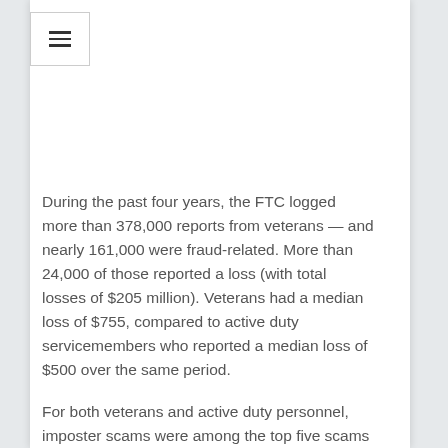During the past four years, the FTC logged more than 378,000 reports from veterans — and nearly 161,000 were fraud-related. More than 24,000 of those reported a loss (with total losses of $205 million). Veterans had a median loss of $755, compared to active duty servicemembers who reported a median loss of $500 over the same period.
For both veterans and active duty personnel, imposter scams were among the top five scams